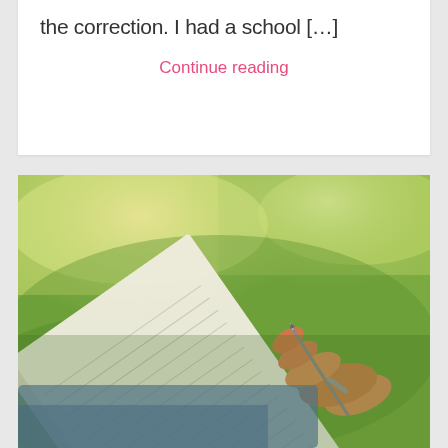the correction. I had a school […]
Continue reading
[Figure (photo): Person sitting on grass outdoors writing in a notebook with a pen, wearing jeans, green grass background visible, photo taken from above/side angle]